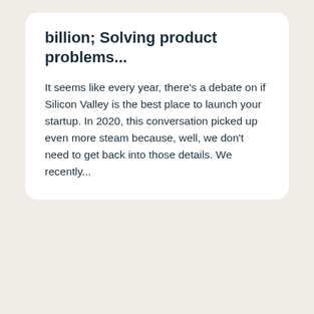billion; Solving product problems...
It seems like every year, there's a debate on if Silicon Valley is the best place to launch your startup. In 2020, this conversation picked up even more steam because, well, we don't need to get back into those details. We recently...